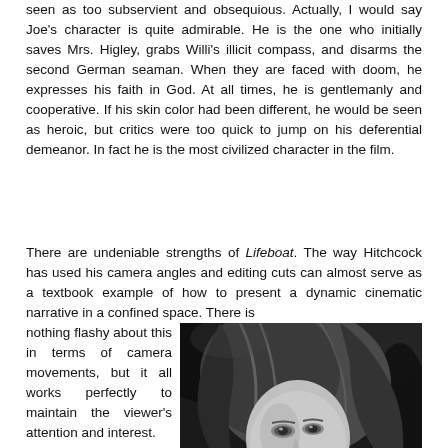seen as too subservient and obsequious. Actually, I would say Joe's character is quite admirable. He is the one who initially saves Mrs. Higley, grabs Willi's illicit compass, and disarms the second German seaman. When they are faced with doom, he expresses his faith in God. At all times, he is gentlemanly and cooperative. If his skin color had been different, he would be seen as heroic, but critics were too quick to jump on his deferential demeanor. In fact he is the most civilized character in the film.
There are undeniable strengths of Lifeboat. The way Hitchcock has used his camera angles and editing cuts can almost serve as a textbook example of how to present a dynamic cinematic narrative in a confined space. There is nothing flashy about this in terms of camera movements, but it all works perfectly to maintain the viewer's attention and interest.
[Figure (photo): Black and white photograph of a woman with wavy hair reclining, looking to the side, likely a still from the film Lifeboat.]